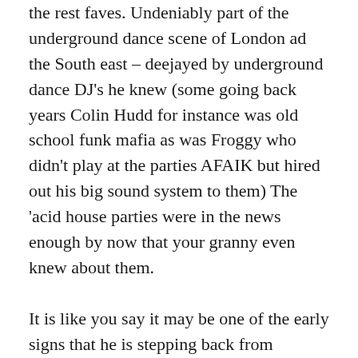the rest faves. Undeniably part of the underground dance scene of London ad the South east – deejayed by underground dance DJ's he knew (some going back years Colin Hudd for instance was old school funk mafia as was Froggy who didn't play at the parties AFAIK but hired out his big sound system to them) The 'acid house parties were in the news enough by now that your granny even knew about them.
It is like you say it may be one of the early signs that he is stepping back from actually being part of things and now just recording inner London street developments (street soul, he liked hardcore/jungle I believe and I believe would have loved speed garage/uk garage – the